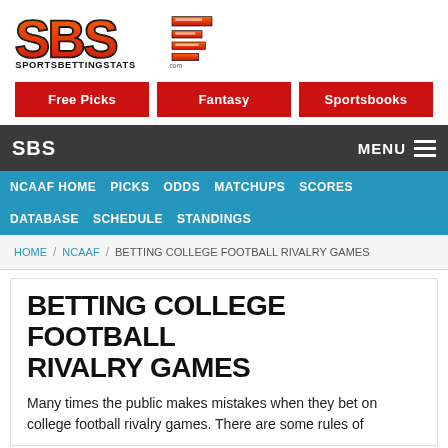[Figure (logo): SBS SportsBettingStats.com logo with bold orange/red letters on dark outline and white/striped elements]
Free Picks
Fantasy
Sportsbooks
SBS  MENU
NCAAF HOME  PICKS  ODDS  MATCHUPS  SCORES  DATABASE  SCHEDULE  STANDINGS
HOME / NCAAF / BETTING COLLEGE FOOTBALL RIVALRY GAMES
BETTING COLLEGE FOOTBALL RIVALRY GAMES
Many times the public makes mistakes when they bet on college football rivalry games. There are some rules of